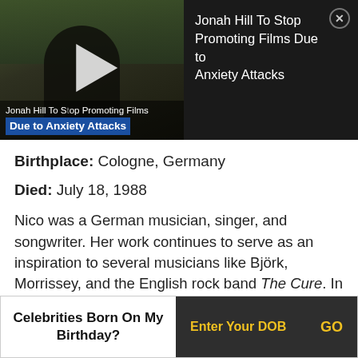[Figure (screenshot): Video thumbnail showing a person in dark clothing with play button overlay, and a dark panel on the right with article title 'Jonah Hill To Stop Promoting Films Due to Anxiety Attacks' and a close button]
Birthplace: Cologne, Germany
Died: July 18, 1988
Nico was a German musician, singer, and songwriter. Her work continues to serve as an inspiration to several musicians like Björk, Morrissey, and the English rock band The Cure. In 2017, Susanna Nicchiarelli directed Nico's biographical film titled Nico, 1988. Also an actress, Nico appeared in many films, including Andy
Celebrities Born On My Birthday? Enter Your DOB GO